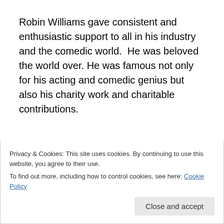Robin Williams gave consistent and enthusiastic support to all in his industry and the comedic world.  He was beloved the world over. He was famous not only for his acting and comedic genius but also his charity work and charitable contributions.
Robin Williams entertained over 90,000 troops for the USO in 13 countries.  They have said he was part of their family
Privacy & Cookies: This site uses cookies. By continuing to use this website, you agree to their use.
To find out more, including how to control cookies, see here: Cookie Policy